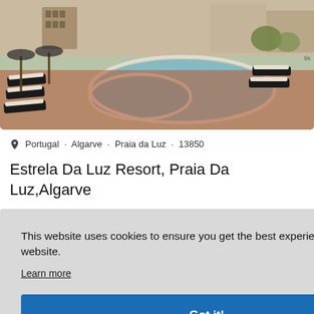[Figure (photo): Hotel resort pool area with sun loungers and umbrellas, terracotta paved deck, buildings in background]
Portugal · Algarve · Praia da Luz · 13850
Estrela Da Luz Resort, Praia Da Luz,Algarve
This website uses cookies to ensure you get the best experience on our website.
Learn more
Got it!
[Figure (photo): Partial thumbnail of resort exterior with blue sky visible on right side]
[Figure (photo): Bottom strip showing resort pool/lounger area]